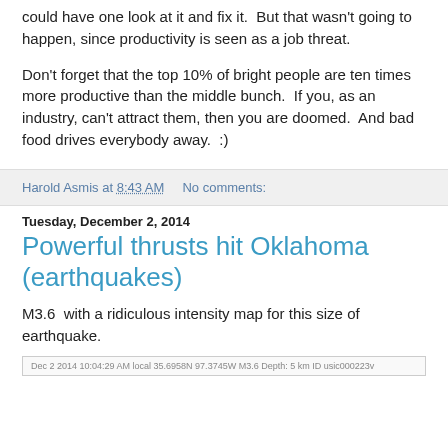could have one look at it and fix it.  But that wasn't going to happen, since productivity is seen as a job threat.
Don't forget that the top 10% of bright people are ten times more productive than the middle bunch.  If you, as an industry, can't attract them, then you are doomed.  And bad food drives everybody away.  :)
Harold Asmis at 8:43 AM    No comments:
Tuesday, December 2, 2014
Powerful thrusts hit Oklahoma (earthquakes)
M3.6  with a ridiculous intensity map for this size of earthquake.
Dec 2 2014 10:04:29 AM local 35.6958N 97.3745W M3.6 Depth: 5 km ID usic000223v